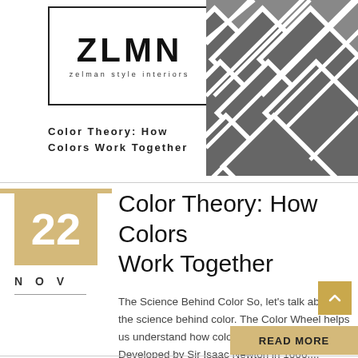[Figure (logo): ZLMN Zelman Style Interiors logo in a black border box]
[Figure (photo): Black and white close-up photo of diagonal paint color swatches arranged in a grid pattern]
Color Theory: How Colors Work Together
Color Theory: How Colors Work Together
22
NOV
The Science Behind Color So, let's talk about the science behind color. The Color Wheel helps us understand how colors work together. Developed by Sir Isaac Newton in 1666,...
READ MORE